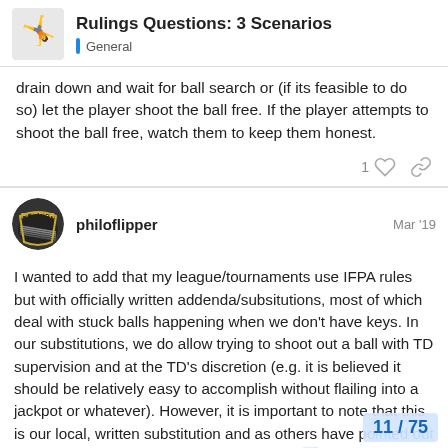Rulings Questions: 3 Scenarios | General
drain down and wait for ball search or (if its feasible to do so) let the player shoot the ball free. If the player attempts to shoot the ball free, watch them to keep them honest.
philoflipper  Mar '19
I wanted to add that my league/tournaments use IFPA rules but with officially written addenda/subsitutions, most of which deal with stuck balls happening when we don't have keys. In our substitutions, we do allow trying to shoot out a ball with TD supervision and at the TD's discretion (e.g. it is believed it should be relatively easy to accomplish without flailing into a jackpot or whatever). However, it is important to note that this is our local, written substitution and as others have pointed out IFPA rules do NOT allow shooting out a stu... multiball. So your league probably needs t